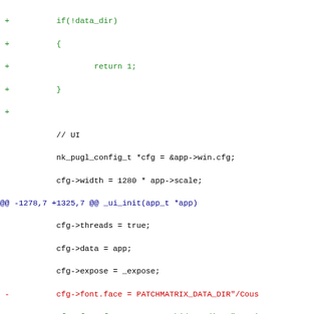Code diff showing changes to UI initialization, font face, and icon loading functions in a C source file.